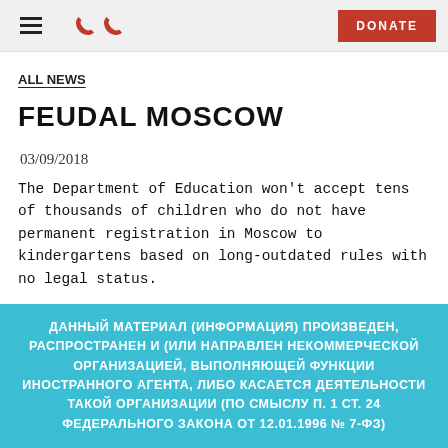≡  ☎ ☎  DONATE
ALL NEWS
FEUDAL MOSCOW
03/09/2018
The Department of Education won't accept tens of thousands of children who do not have permanent registration in Moscow to kindergartens based on long-outdated rules with no legal status.
ДАННЫЙ МАТЕРИАЛ (ИНФОРМАЦИЯ) ПРОИЗВЕДЕН, РАСПРОСТРАНЕН И (ИЛИ НАПРАВЛЕН НЕКОММЕРЧЕСКОЙ ОРГАНИЗАЦИЕЙ, ВЫПОЛНЯЮЩЕЙ ФУНКЦИИ ИНОСТРАННОГО АГЕНТА, ЛИБО КАСАЕТСЯ ДЕЯТЕЛЬНОСТИ ТАКОЙ ОРГАНИЗАЦИИ (ПО СМЫСЛУ П. 1 СТ. 24 ФЕДЕРАЛЬНОГО ЗАКОНА ОТ 12.01.1996 № 7-ФЗ)